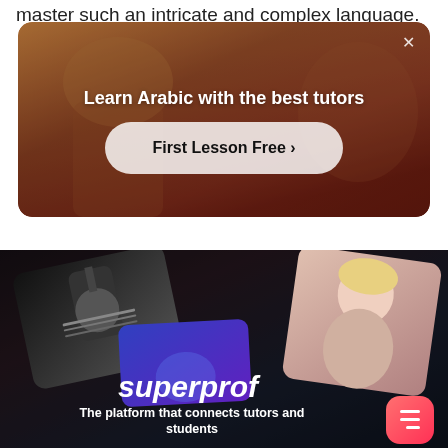master such an intricate and complex language.
[Figure (screenshot): Advertisement banner for language tutoring. Dark warm background with a person. Text reads 'Learn Arabic with the best tutors' and a button 'First Lesson Free >']
[Figure (screenshot): Superprof platform banner showing multiple tablet/phone screens with tutors. Logo reads 'superprof' in italic white text. Subtitle: 'The platform that connects tutors and students'. Pink/red menu icon button in bottom right.]